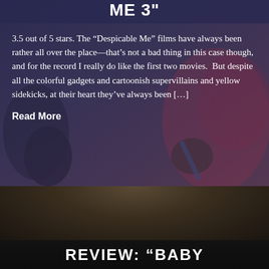ME 3"
3.5 out of 5 stars. The “Despicable Me” films have always been rather all over the place—that’s not a bad thing in this case though, and for the record I really do like the first two movies. But despite all the colorful gadgets and cartoonish supervillains and yellow sidekicks, at their heart they’ve always been [...]
Read More
[Figure (photo): Background image showing animated characters from Despicable Me 3, with hands holding objects, reddish/pink characters visible in background]
REVIEW: “BABY